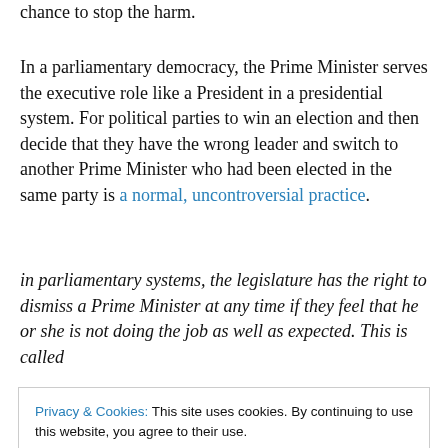chance to stop the harm.
In a parliamentary democracy, the Prime Minister serves the executive role like a President in a presidential system. For political parties to win an election and then decide that they have the wrong leader and switch to another Prime Minister who had been elected in the same party is a normal, uncontroversial practice.
in parliamentary systems, the legislature has the right to dismiss a Prime Minister at any time if they feel that he or she is not doing the job as well as expected. This is called
Privacy & Cookies: This site uses cookies. By continuing to use this website, you agree to their use.
To find out more, including how to control cookies, see here: Cookie Policy
Because Americans elected the Republican Party to